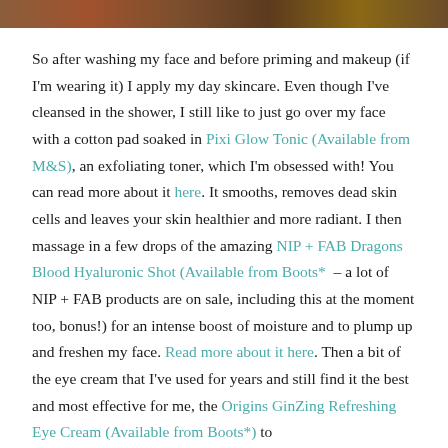[Figure (photo): Top strip of a cropped photo showing warm brown/orange tones, likely a face or skin close-up.]
So after washing my face and before priming and makeup (if I'm wearing it) I apply my day skincare. Even though I've cleansed in the shower, I still like to just go over my face with a cotton pad soaked in Pixi Glow Tonic (Available from M&S), an exfoliating toner, which I'm obsessed with! You can read more about it here. It smooths, removes dead skin cells and leaves your skin healthier and more radiant. I then massage in a few drops of the amazing NIP + FAB Dragons Blood Hyaluronic Shot (Available from Boots* – a lot of NIP + FAB products are on sale, including this at the moment too, bonus!) for an intense boost of moisture and to plump up and freshen my face. Read more about it here. Then a bit of the eye cream that I've used for years and still find it the best and most effective for me, the Origins GinZing Refreshing Eye Cream (Available from Boots*) to